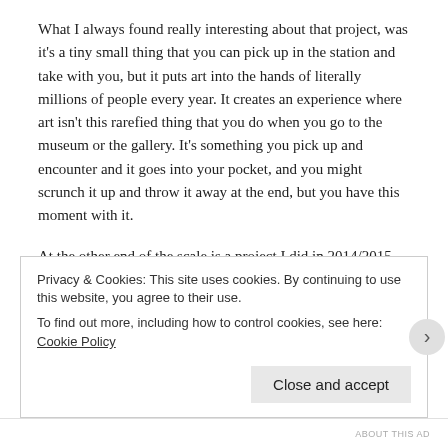What I always found really interesting about that project, was it's a tiny small thing that you can pick up in the station and take with you, but it puts art into the hands of literally millions of people every year. It creates an experience where art isn't this rarefied thing that you do when you go to the museum or the gallery. It's something you pick up and encounter and it goes into your pocket, and you might scrunch it up and throw it away at the end, but you have this moment with it.
At the other end of the scale is a project I did in 2014/2015 with Mel Brimfield and Gwyneth Herbert. That project was marking what would have been the 100th birthday of pioneering Theatre Director Joan Littlewood. There was an initiative all around the country to mark this 100th birthday with Fun Palaces, which was an
Privacy & Cookies: This site uses cookies. By continuing to use this website, you agree to their use.
To find out more, including how to control cookies, see here: Cookie Policy